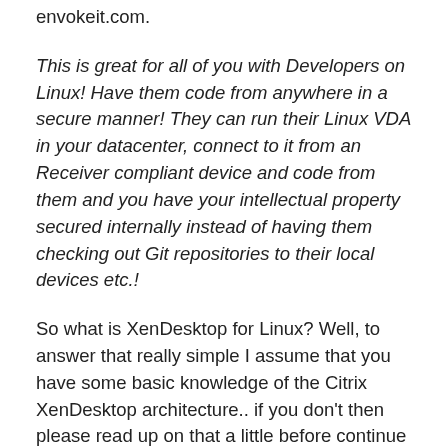envokeit.com.
This is great for all of you with Developers on Linux! Have them code from anywhere in a secure manner! They can run their Linux VDA in your datacenter, connect to it from an Receiver compliant device and code from them and you have your intellectual property secured internally instead of having them checking out Git repositories to their local devices etc.!
So what is XenDesktop for Linux? Well, to answer that really simple I assume that you have some basic knowledge of the Citrix XenDesktop architecture.. if you don't then please read up on that a little before continue reading, one really good contribution to bulding your architecture is described in this Citrix Virtual Desktop Handbook or this Citrix XenDesktop – Blueprint. These